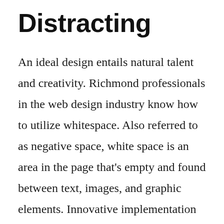Distracting
An ideal design entails natural talent and creativity. Richmond professionals in the web design industry know how to utilize whitespace. Also referred to as negative space, white space is an area in the page that's empty and found between text, images, and graphic elements. Innovative implementation of whitespace and design elements creates a more appealing and less distracting design that guides visitors to exactly where they